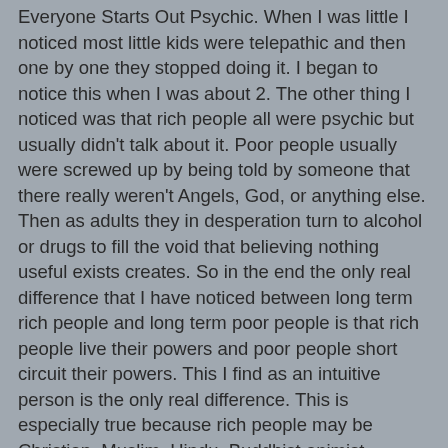Everyone Starts Out Psychic. When I was little I noticed most little kids were telepathic and then one by one they stopped doing it. I began to notice this when I was about 2. The other thing I noticed was that rich people all were psychic but usually didn't talk about it. Poor people usually were screwed up by being told by someone that there really weren't Angels, God, or anything else. Then as adults they in desperation turn to alcohol or drugs to fill the void that believing nothing useful exists creates. So in the end the only real difference that I have noticed between long term rich people and long term poor people is that rich people live their powers and poor people short circuit their powers. This I find as an intuitive person is the only real difference. This is especially true because rich people may be Christian, Muslim, Hindu, Buddhist,animist, humanist, agnostic or whatever. But what they all seem to have in common is to secretly accept and use their God given intuitive gifts. They nurture their gifts, they study their gifts, and they grow their gifts within whatever belief structure that they practice in their lives.
When I was about 21 my best friend at that time entered